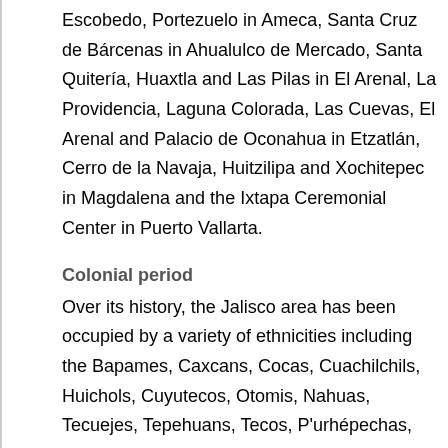Escobedo, Portezuelo in Ameca, Santa Cruz de Bárcenas in Ahualulco de Mercado, Santa Quitería, Huaxtla and Las Pilas in El Arenal, La Providencia, Laguna Colorada, Las Cuevas, El Arenal and Palacio de Oconahua in Etzatlán, Cerro de la Navaja, Huitzilipa and Xochitepec in Magdalena and the Ixtapa Ceremonial Center in Puerto Vallarta.
Colonial period
Over its history, the Jalisco area has been occupied by a variety of ethnicities including the Bapames, Caxcans, Cocas, Cuachilchils, Huichols, Cuyutecos, Otomis, Nahuas, Tecuejes, Tepehuans, Tecos, P'urhépechas, Pinomes, Tzaultecas and Xilotlantzingas. Some writers have also mentioned groups such as the Pinos, Otontlatolis, Amultecas,